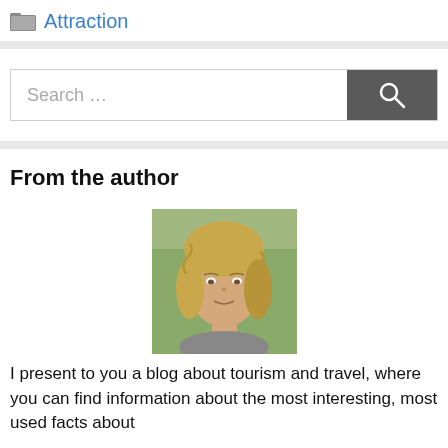Attraction
[Figure (other): Search bar with text input field and dark grey search button with magnifying glass icon]
From the author
[Figure (photo): Portrait photo of a young blonde woman with curly hair, outdoor background]
I present to you a blog about tourism and travel, where you can find information about the most interesting, most used facts about